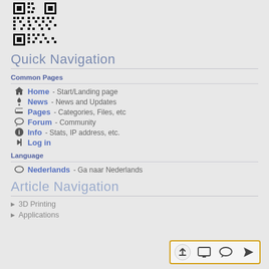[Figure (other): QR code image at top left]
Quick Navigation
Common Pages
Home - Start/Landing page
News - News and Updates
Pages - Categories, Files, etc
Forum - Community
Info - Stats, IP address, etc.
Log in
Language
Nederlands - Ga naar Nederlands
Article Navigation
3D Printing
Applications
[Figure (other): Bottom toolbar with four icons: upload, monitor, chat bubble, navigation arrow; framed in orange border]